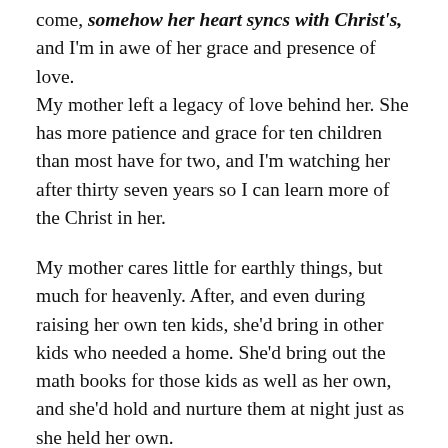come, somehow her heart syncs with Christ's, and I'm in awe of her grace and presence of love. My mother left a legacy of love behind her. She has more patience and grace for ten children than most have for two, and I'm watching her after thirty seven years so I can learn more of the Christ in her.
My mother cares little for earthly things, but much for heavenly. After, and even during raising her own ten kids, she'd bring in other kids who needed a home. She'd bring out the math books for those kids as well as her own, and she'd hold and nurture them at night just as she held her own. Now that her ten are grown and most of us have left home, she has four girls in her home from three different families. Girls who need her love and care